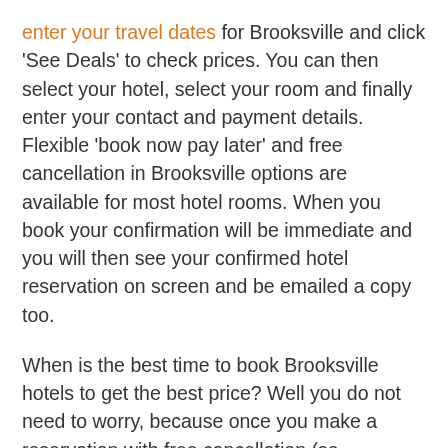enter your travel dates for Brooksville and click 'See Deals' to check prices. You can then select your hotel, select your room and finally enter your contact and payment details. Flexible 'book now pay later' and free cancellation in Brooksville options are available for most hotel rooms. When you book your confirmation will be immediate and you will then see your confirmed hotel reservation on screen and be emailed a copy too.
When is the best time to book Brooksville hotels to get the best price? Well you do not need to worry, because once you make a reservation with free cancellation (so excluding special non-refundable bookings only) and you share your email address with us, we will re-check the price every day